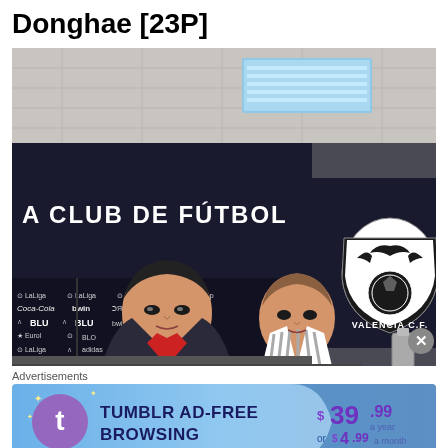Donghae [23P]
[Figure (photo): Two young East Asian men seated at a press conference table in front of a Valencia C.F. sponsor backdrop. The backdrop shows logos for LaLiga, Coca-Cola, bwin, BLU, and other sponsors on a dark background. The Valencia C.F. crest (bat and football) is visible on the right side. Text on the wall reads 'A CLUB DE FÚTBOL'. The man on the left wears a dark jacket over a red shirt; the man on the right wears a striped shirt.]
Advertisements
[Figure (screenshot): Tumblr AD-FREE BROWSING advertisement banner. Shows Tumblr 't' logo, text 'TUMBLR AD-FREE BROWSING', price '$39.99 a year or $4.99 a month' on a blue/purple gradient background.]